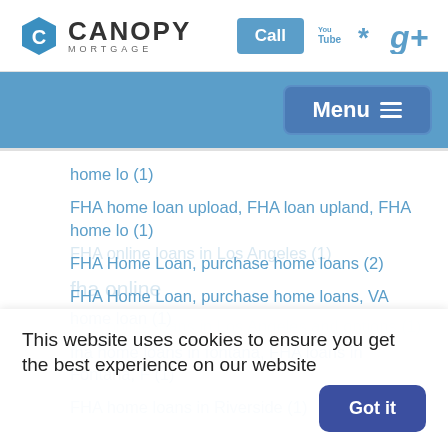[Figure (logo): Canopy Mortgage logo with hexagon C icon, Call button, YouTube, Yelp, and Google+ icons]
[Figure (screenshot): Navigation bar with blue background and Menu button with hamburger icon]
home lo (1)
FHA home loan upload, FHA loan upland, FHA home lo (1)
FHA Home Loan, purchase home loans (2)
FHA Home Loan, purchase home loans, VA home loan (1)
fha home loans in fontana, FHA loans in Fontana, F (1)
FHA home loans in Riverside (1)
This website uses cookies to ensure you get the best experience on our website